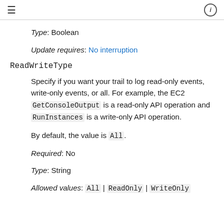≡  ⓘ
Type: Boolean
Update requires: No interruption
ReadWriteType
Specify if you want your trail to log read-only events, write-only events, or all. For example, the EC2 GetConsoleOutput is a read-only API operation and RunInstances is a write-only API operation.
By default, the value is All.
Required: No
Type: String
Allowed values: All | ReadOnly | WriteOnly